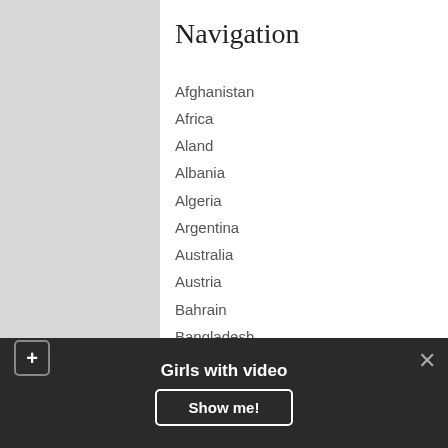Navigation
Afghanistan
Africa
Aland
Albania
Algeria
Argentina
Australia
Austria
Bahrain
Bangladesh
Belgium
Belize
Bosnia and Herzegovina
Brazil
Bulgaria
Cambodia
Girls with video
Show me!